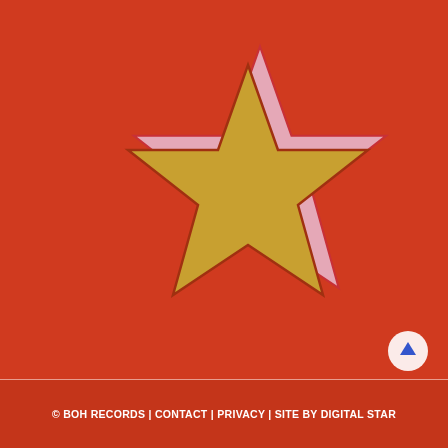[Figure (illustration): A stylized star graphic on a red-orange background. The star has a golden/yellow fill with a pink/light lavender shadow offset star behind it, outlined in red. The star is positioned in the left-center area of the image.]
© BOH RECORDS | CONTACT | PRIVACY | SITE BY DIGITAL STAR